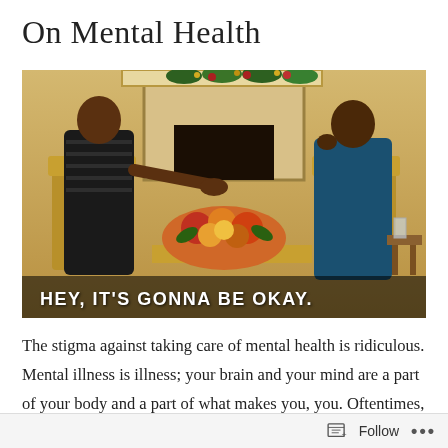On Mental Health
[Figure (photo): Two women seated in ornate gold chairs in front of a fireplace decorated with holiday garland. A floral arrangement sits on a table between them. One woman gestures with her hand. Text overlay reads: HEY, IT'S GONNA BE OKAY.]
The stigma against taking care of mental health is ridiculous. Mental illness is illness; your brain and your mind are a part of your body and a part of what makes you, you. Oftentimes, people avoid addressing
Follow ...